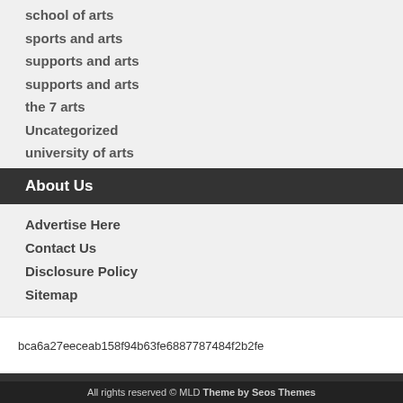school of arts
sports and arts
supports and arts
supports and arts
the 7 arts
Uncategorized
university of arts
About Us
Advertise Here
Contact Us
Disclosure Policy
Sitemap
bca6a27eeceab158f94b63fe6887787484f2b2fe
Visit Now
chadlavy.com
All rights reserved © MLD Theme by Seos Themes